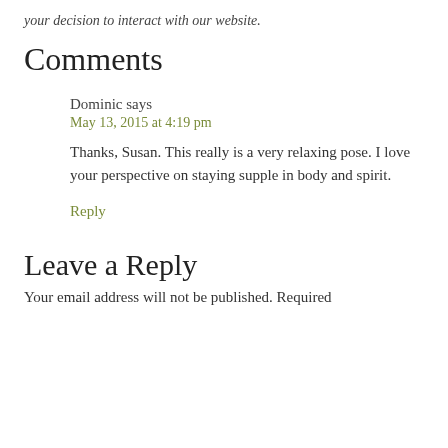your decision to interact with our website.
Comments
Dominic says
May 13, 2015 at 4:19 pm

Thanks, Susan. This really is a very relaxing pose. I love your perspective on staying supple in body and spirit.

Reply
Leave a Reply
Your email address will not be published. Required